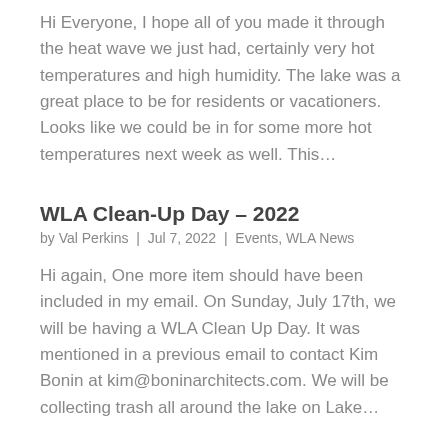Hi Everyone, I hope all of you made it through the heat wave we just had, certainly very hot temperatures and high humidity. The lake was a great place to be for residents or vacationers. Looks like we could be in for some more hot temperatures next week as well. This…
WLA Clean-Up Day – 2022
by Val Perkins  |  Jul 7, 2022  |  Events, WLA News
Hi again, One more item should have been included in my email. On Sunday, July 17th, we will be having a WLA Clean Up Day. It was mentioned in a previous email to contact Kim Bonin at kim@boninarchitects.com. We will be collecting trash all around the lake on Lake…